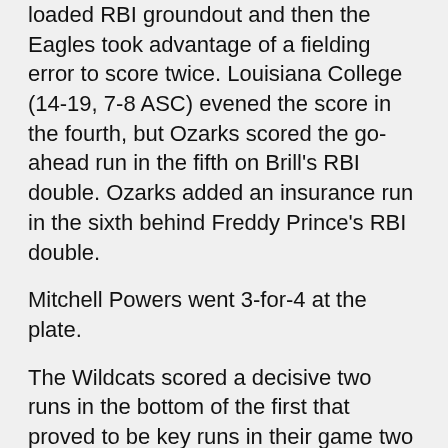loaded RBI groundout and then the Eagles took advantage of a fielding error to score twice. Louisiana College (14-19, 7-8 ASC) evened the score in the fourth, but Ozarks scored the go-ahead run in the fifth on Brill's RBI double. Ozarks added an insurance run in the sixth behind Freddy Prince's RBI double.
Mitchell Powers went 3-for-4 at the plate.
The Wildcats scored a decisive two runs in the bottom of the first that proved to be key runs in their game two win. The Eagles did open the game with a run on a Powers RBI single. Louisiana College then scored once in the second to lead 3-1, but Ozarks scored on an error in the third to make it a one run contest. However, Ozarks wouldn't score again in the game, while the Wildcats tacked on a run in the sixth.
Powers and Brill each went 2-for-4. Josh Staffers... (3-2)